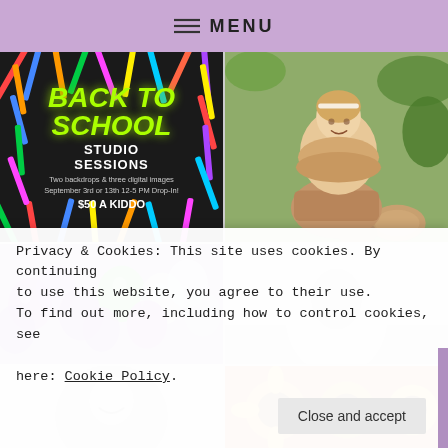MENU
[Figure (photo): Back to School Studio Sessions promotional image with school supplies on dark background. Text: BACK TO SCHOOL STUDIO SESSIONS. Two backdrops & three digital images. September 3rd or 13th 12-5 PM Drop-In! $50 A KIDDO]
[Figure (photo): Young toddler girl in a ruffled tan dress sitting in a basket, surrounded by tropical plants and wooden decor, lifestyle photography]
[Figure (photo): Purple, green, and silver balloons, party decoration photo]
[Figure (photo): Black and white photo, partially visible]
[Figure (photo): Black and white photo bottom row, partially visible]
[Figure (photo): Color photo with flowers, bottom row, partially visible]
Privacy & Cookies: This site uses cookies. By continuing to use this website, you agree to their use.
To find out more, including how to control cookies, see here: Cookie Policy.
Close and accept